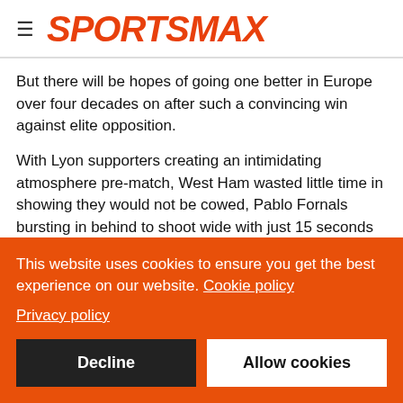SPORTSMAX
But there will be hopes of going one better in Europe over four decades on after such a convincing win against elite opposition.
With Lyon supporters creating an intimidating atmosphere pre-match, West Ham wasted little time in showing they would not be cowed, Pablo Fornals bursting in behind to shoot wide with just 15 seconds on the clock.
But Lyon responded well, Karl Toko Ekambi smashing the post after quick feet in the box before Houssem Aouar saw a shot
This website uses cookies to ensure you get the best experience on our website. Cookie policy
Privacy policy
Decline
Allow cookies